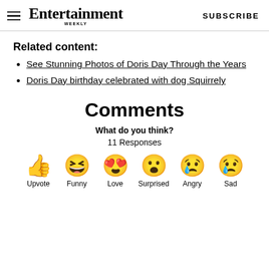Entertainment Weekly  SUBSCRIBE
Related content:
See Stunning Photos of Doris Day Through the Years
Doris Day birthday celebrated with dog Squirrely
Comments
What do you think?
11 Responses
[Figure (infographic): Six emoji reaction buttons: Upvote (thumbs up), Funny (laughing face with tongue), Love (heart eyes face), Surprised (surprised face), Angry (crying/angry face), Sad (sad face with tear)]